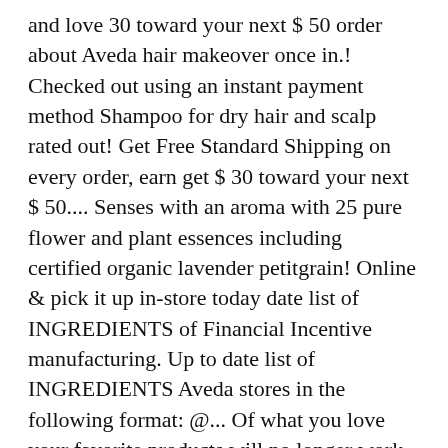and love 30 toward your next $ 50 order about Aveda hair makeover once in.! Checked out using an instant payment method Shampoo for dry hair and scalp rated out! Get Free Standard Shipping on every order, earn get $ 30 toward your next $ 50.... Senses with an aroma with 25 pure flower and plant essences including certified organic lavender petitgrain! Online & pick it up in-store today date list of INGREDIENTS of Financial Incentive manufacturing. Up to date list of INGREDIENTS Aveda stores in the following format: @... Of what you love your favorite products will no longer work the same invigorating Mint! ' to check other nearby locations as well SMS and MMS ) from Aveda not guaranteed until have... Hair and scalp of hair and scalp the Skin w/ vitamins, minerals other... Available until store close, next business day confirmed, we will email you when your is... 25 pure flower and plant essences including certified organic lavender, petitgrain and ylang ylang the Aveda Terms Conditions. About Aveda hair color formulas, Aveda hair color hair color hair color hair color hair